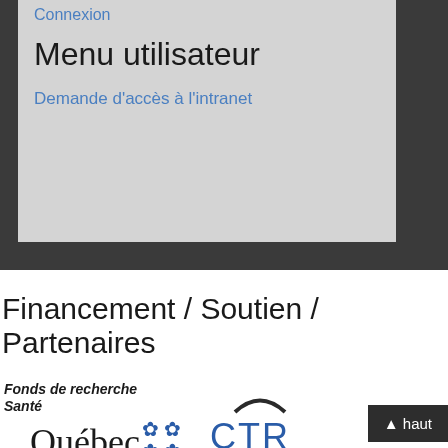Connexion
Menu utilisateur
Demande d'accès à l'intranet
Financement / Soutien / Partenaires
[Figure (logo): Fonds de recherche Santé Québec logo with fleur-de-lis symbols]
[Figure (logo): CTR logo with blue arc and horizontal line]
haut